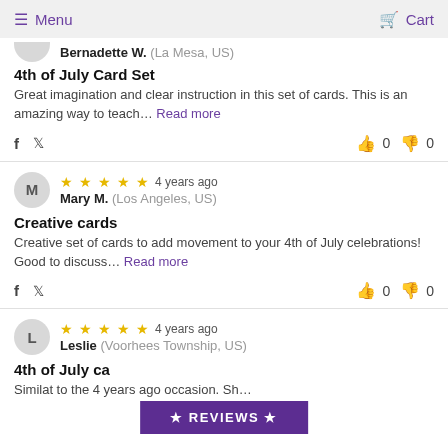Menu  Cart
Bernadette W. (La Mesa, US)
4th of July Card Set
Great imagination and clear instruction in this set of cards. This is an amazing way to teach... Read more
★★★★★  4 years ago  Mary M. (Los Angeles, US)
Creative cards
Creative set of cards to add movement to your 4th of July celebrations! Good to discuss... Read more
★★★★★  4 years ago  Leslie (Voorhees Township, US)
4th of July ca
★ REVIEWS ★